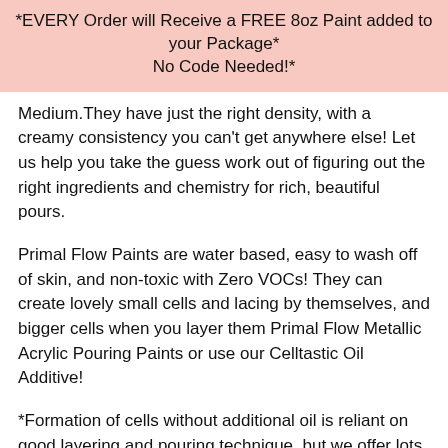*EVERY Order will Receive a FREE 8oz Paint added to your Package* No Code Needed!*
Medium.They have just the right density, with a creamy consistency you can't get anywhere else! Let us help you take the guess work out of figuring out the right ingredients and chemistry for rich, beautiful pours.
Primal Flow Paints are water based, easy to wash off of skin, and non-toxic with Zero VOCs! They can create lovely small cells and lacing by themselves, and bigger cells when you layer them Primal Flow Metallic Acrylic Pouring Paints or use our Celltastic Oil Additive!
*Formation of cells without additional oil is reliant on good layering and pouring technique, but we offer lots of educational resources! Find us at Youtube.com/PrimalFlowStudio and IG@PrimalFlowPaint!
You can use Primal Flow Medium as a substitute for thin Primal...